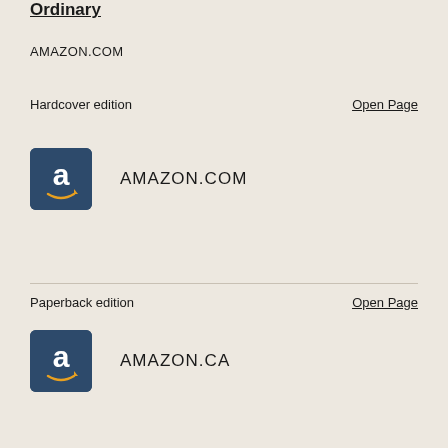Ordinary
AMAZON.COM
Hardcover edition
Open Page
[Figure (logo): Amazon logo - blue rounded square with white 'a' and orange smile]
AMAZON.COM
Paperback edition
Open Page
[Figure (logo): Amazon logo - blue rounded square with white 'a' and orange smile]
AMAZON.CA